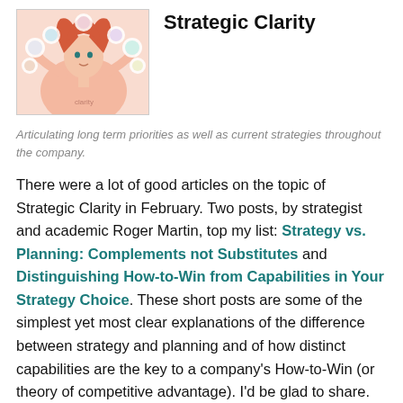[Figure (illustration): Illustrated image of a person with red hair surrounded by circular icons, stylized in a colorful flat illustration style]
Strategic Clarity
Articulating long term priorities as well as current strategies throughout the company.
There were a lot of good articles on the topic of Strategic Clarity in February. Two posts, by strategist and academic Roger Martin, top my list: Strategy vs. Planning: Complements not Substitutes and Distinguishing How-to-Win from Capabilities in Your Strategy Choice. These short posts are some of the simplest yet most clear explanations of the difference between strategy and planning and of how distinct capabilities are the key to a company's How-to-Win (or theory of competitive advantage). I'd be glad to share.